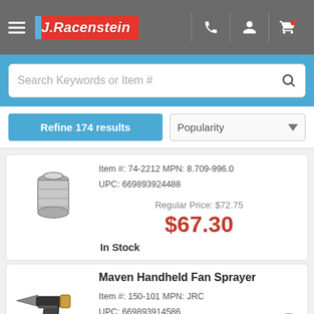J.Racenstein — Navigation header with logo, phone, account, and cart icons
Search Keywords or Item #
Refine 174 results | Popularity
Item #: 74-2212 MPN: 8.709-996.0
UPC: 669893924488
Regular Price: $72.75
$67.30
In Stock
Maven Handheld Fan Sprayer
Item #: 150-101 MPN: JRC
UPC: 669893914586